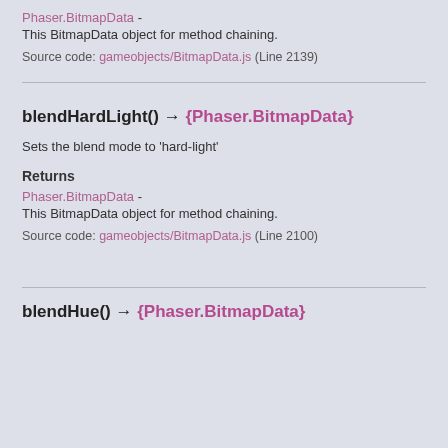Phaser.BitmapData - This BitmapData object for method chaining.
Source code: gameobjects/BitmapData.js (Line 2139)
blendHardLight() → {Phaser.BitmapData}
Sets the blend mode to 'hard-light'
Returns
Phaser.BitmapData - This BitmapData object for method chaining.
Source code: gameobjects/BitmapData.js (Line 2100)
blendHue() → {Phaser.BitmapData}